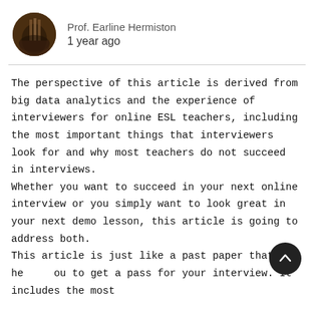Prof. Earline Hermiston
1 year ago
The perspective of this article is derived from big data analytics and the experience of interviewers for online ESL teachers, including the most important things that interviewers look for and why most teachers do not succeed in interviews.
Whether you want to succeed in your next online interview or you simply want to look great in your next demo lesson, this article is going to address both.
This article is just like a past paper that helps you to get a pass for your interview. It includes the most important things interviewers look for and consider...